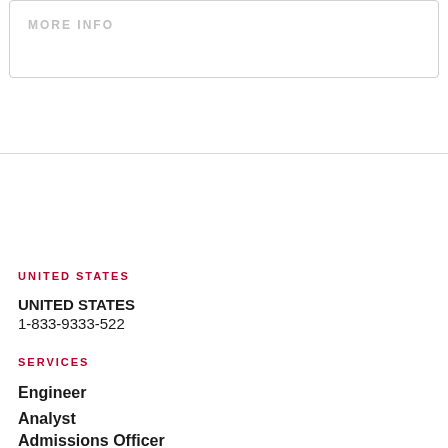MORE INFO
UNITED STATES
UNITED STATES
1-833-9333-522
SERVICES
Engineer
Analyst
Admissions Officer
Foreman